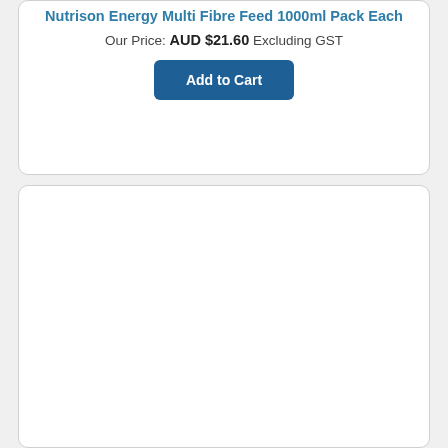Nutrison Energy Multi Fibre Feed 1000ml Pack Each
Our Price: AUD $21.60 Excluding GST
Add to Cart